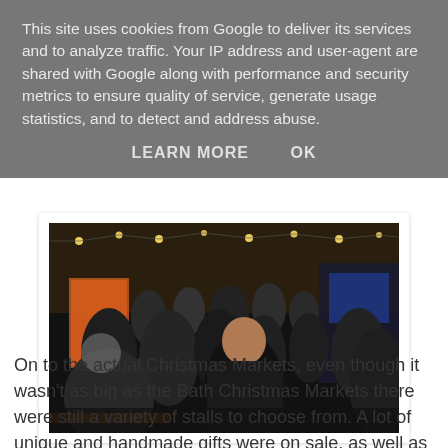This site uses cookies from Google to deliver its services and to analyze traffic. Your IP address and user-agent are shared with Google along with performance and security metrics to ensure quality of service, generate usage statistics, and to detect and address abuse.
LEARN MORE    OK
[Figure (photo): A crowded indoor Christmas market scene at night, with people browsing stalls lit by warm lights and festive decorations overhead.]
On to the actual Christmas Markets, even though it wasn't as big as the Bath Christmas Markets there were still a variety of stalls to choose from. A lot of unique and handmade gifts were on sale, as well as delicious food and mulled wine for